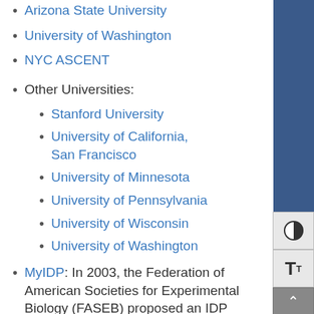Arizona State University
University of Washington
NYC ASCENT
Other Universities:
Stanford University
University of California, San Francisco
University of Minnesota
University of Pennsylvania
University of Wisconsin
University of Washington
MyIDP: In 2003, the Federation of American Societies for Experimental Biology (FASEB) proposed an IDP framework for